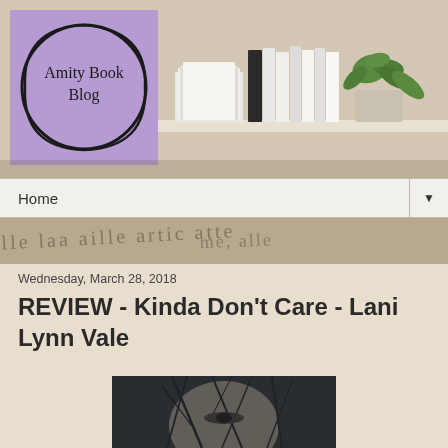[Figure (photo): Blog header banner showing a purple logo box with 'Amity Book Blog' text inside a hand-drawn circle, and a photo of stacked books with a green plant on a shelf]
Home
Wednesday, March 28, 2018
REVIEW - Kinda Don't Care - Lani Lynn Vale
[Figure (photo): Dark moody book cover image showing a face partially obscured by dark branches/twigs, appearing to be the cover of 'Kinda Don't Care' by Lani Lynn Vale]